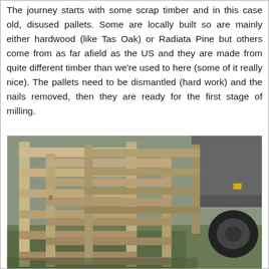The journey starts with some scrap timber and in this case old, disused pallets. Some are locally built so are mainly either hardwood (like Tas Oak) or Radiata Pine but others come from as far afield as the US and they are made from quite different timber than we're used to here (some of it really nice). The pallets need to be dismantled (hard work) and the nails removed, then they are ready for the first stage of milling.
[Figure (photo): Photograph of old, weathered wooden pallets leaning against what appears to be a vehicle/trailer, outdoors on grass and gravel.]